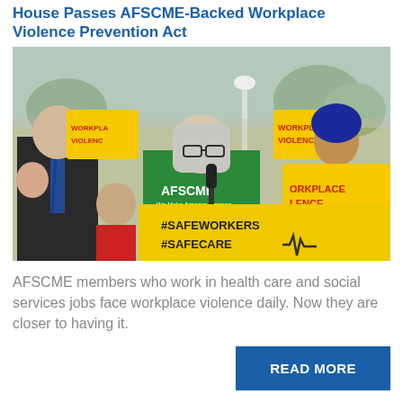House Passes AFSCME-Backed Workplace Violence Prevention Act
[Figure (photo): Outdoor press event with AFSCME member in green t-shirt speaking at a podium marked #SAFEWORKERS #SAFECARE, surrounded by supporters holding yellow signs reading WORKPLACE VIOLENCE.]
AFSCME members who work in health care and social services jobs face workplace violence daily. Now they are closer to having it.
READ MORE